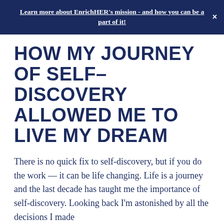Learn more about EnrichHER's mission - and how you can be a part of it!
HOW MY JOURNEY OF SELF-DISCOVERY ALLOWED ME TO LIVE MY DREAM
There is no quick fix to self-discovery, but if you do the work — it can be life changing. Life is a journey and the last decade has taught me the importance of self-discovery. Looking back I'm astonished by all the decisions I made